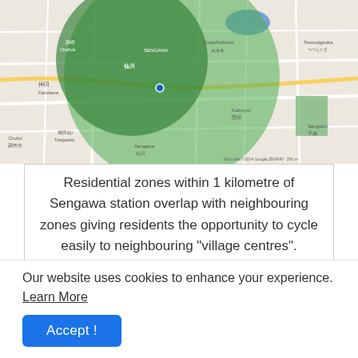[Figure (map): Aerial/street map showing residential zones within 1 kilometre of Sengawa station, with green overlay circles indicating cycling distance zones overlapping neighbouring areas.]
Residential zones within 1 kilometre of Sengawa station overlap with neighbouring zones giving residents the opportunity to cycle easily to neighbouring "village centres".
Forming a larger ring around the commercial district is the village residential area. Primarily homes an apartments, the residential areas are also dotted with convenience stores. medical clinics. schools and kindergartens not to
Our website uses cookies to enhance your experience. Learn More
Accept !